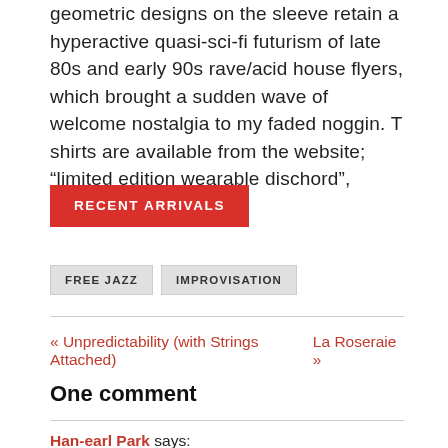geometric designs on the sleeve retain a hyperactive quasi-sci-fi futurism of late 80s and early 90s rave/acid house flyers, which brought a sudden wave of welcome nostalgia to my faded noggin. T shirts are available from the website; “limited edition wearable dischord”, apparently. Super.
RECENT ARRIVALS
FREE JAZZ
IMPROVISATION
« Unpredictability (with Strings Attached)    La Roseraie »
One comment
Han-earl Park says: